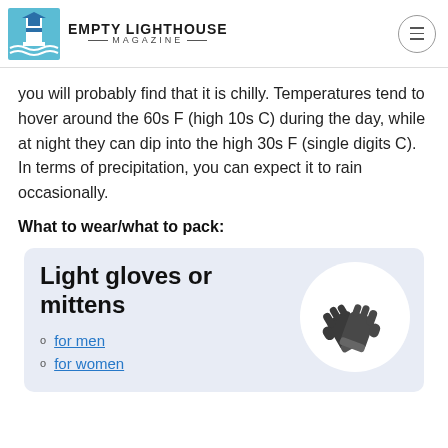EMPTY LIGHTHOUSE MAGAZINE
you will probably find that it is chilly. Temperatures tend to hover around the 60s F (high 10s C) during the day, while at night they can dip into the high 30s F (single digits C). In terms of precipitation, you can expect it to rain occasionally.
What to wear/what to pack:
[Figure (infographic): Product card with title 'Light gloves or mittens', two links 'for men' and 'for women', and a circular image of dark gray gloves on a light blue-gray background.]
for men
for women